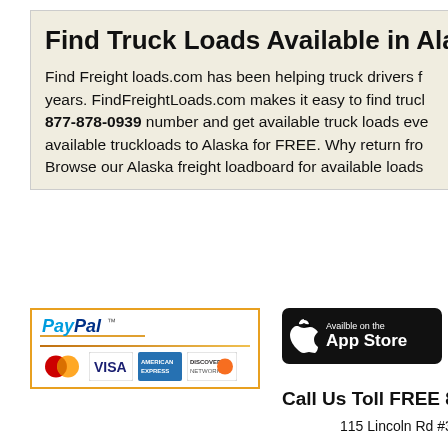Find Truck Loads Available in Alas
Find Freight loads.com has been helping truck drivers f years. FindFreightLoads.com makes it easy to find truc 877-878-0939 number and get available truck loads eve available truckloads to Alaska for FREE. Why return fro Browse our Alaska freight loadboard for available loads
[Figure (logo): PayPal logo with payment card icons: MasterCard, VISA, American Express, Discover]
[Figure (screenshot): App Store download button - Available on the App Store]
[Figure (screenshot): Google Play - Get it on Google Play button (partially visible)]
Call Us Toll FREE 888-
115 Lincoln Rd #3...